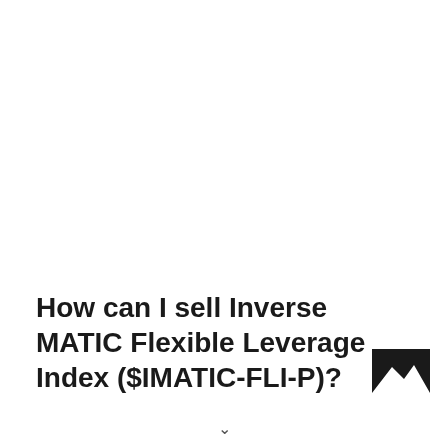How can I sell Inverse MATIC Flexible Leverage Index ($IMATIC-FLI-P)?
[Figure (illustration): Small dark square icon with a mountain/landscape silhouette in the bottom-right corner of the page]